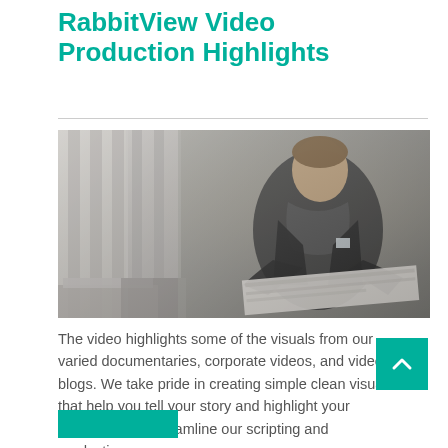RabbitView Video Production Highlights
[Figure (photo): A well-dressed man in a dark blazer and scarf sitting outdoors in front of stone columns, reading a newspaper or magazine. Professional/corporate photo shoot setting.]
The video highlights some of the visuals from our varied documentaries, corporate videos, and video blogs.  We take pride in creating simple clean visual that help you tell your story and highlight your message.  We streamline our scripting and production...